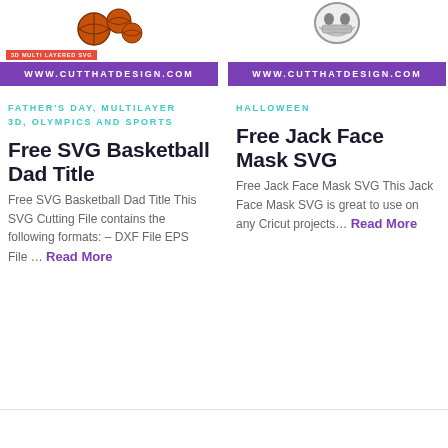[Figure (illustration): Basketball dad SVG design thumbnail with basketball graphic and 3D Multi Layered SVG badge, with purple banner showing www.cutthatdesign.com]
[Figure (illustration): Jack face mask SVG design thumbnail with mask graphic, with purple banner showing www.cutthatdesign.com]
FATHER'S DAY, MULTILAYER 3D, OLYMPICS AND SPORTS
Free SVG Basketball Dad Title
Free SVG Basketball Dad Title This SVG Cutting File contains the following formats: – DXF File EPS File … Read More
HALLOWEEN
Free Jack Face Mask SVG
Free Jack Face Mask SVG This Jack Face Mask SVG is great to use on any Cricut projects… Read More